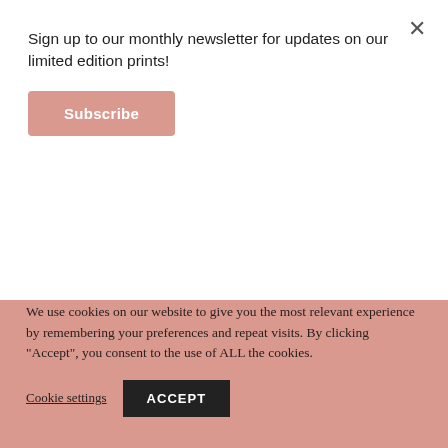Sign up to our monthly newsletter for updates on our limited edition prints!
Subscribe
Eyeshadow
£35.00 – £55.00
Select options
Details
Select options
Details
We use cookies on our website to give you the most relevant experience by remembering your preferences and repeat visits. By clicking "Accept", you consent to the use of ALL the cookies.
Cookie settings
ACCEPT